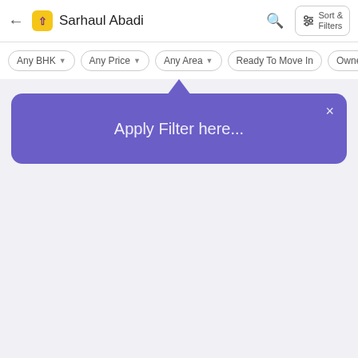Sarhaul Abadi — Sort & Filters
Any BHK
Any Price
Any Area
Ready To Move In
Owner
Apply Filter here...